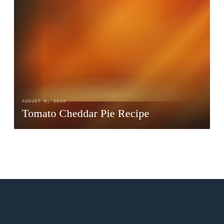[Figure (photo): A tomato cheddar pie with melted cheese and sliced tomatoes, shown from above on a cooling rack. Two forks visible on left side.]
AUGUST 8, 2018
Tomato Cheddar Pie Recipe